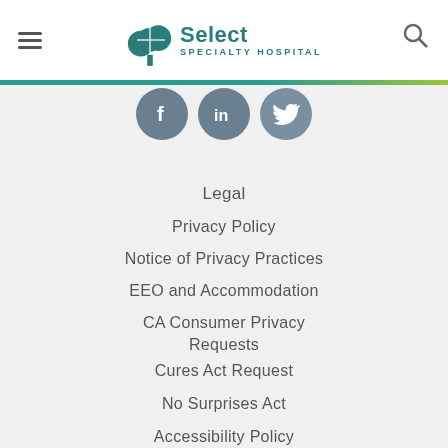[Figure (logo): Select Specialty Hospital logo with tree icon]
[Figure (illustration): Social media icons: Facebook, LinkedIn, Twitter in dark circles]
Legal
Privacy Policy
Notice of Privacy Practices
EEO and Accommodation
CA Consumer Privacy Requests
Cures Act Request
No Surprises Act
Accessibility Policy